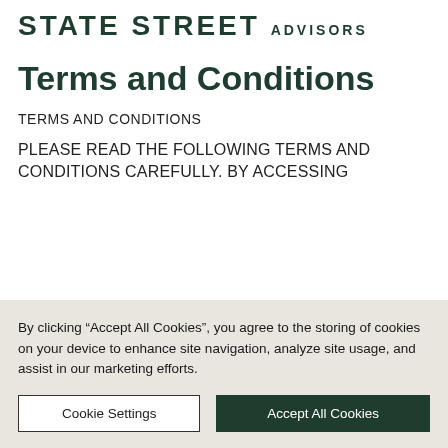STATE STREET ADVISORS
Terms and Conditions
TERMS AND CONDITIONS
PLEASE READ THE FOLLOWING TERMS AND CONDITIONS CAREFULLY. BY ACCESSING
By clicking “Accept All Cookies”, you agree to the storing of cookies on your device to enhance site navigation, analyze site usage, and assist in our marketing efforts.
Cookie Settings
Accept All Cookies